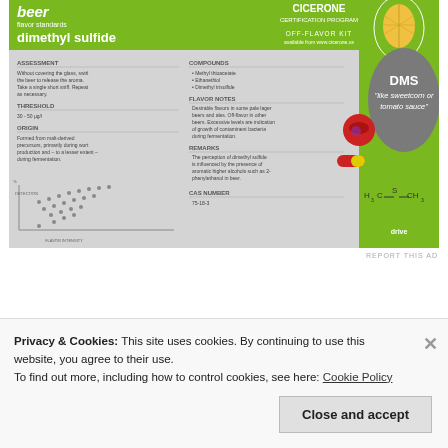[Figure (photo): Cicerone Beer Flavor Standards Off-Flavor Kit card for dimethyl sulfide (DMS). Green header with 'beer flavor standards / dimethyl sulfide / CICERONE OFF-FLAVOR KIT'. Gray oval with 'DMS like sweetcorn or tomato sauce'. Capsule images (red/yellow). Chemical structure H3C-S-CH3. Left panel with instructions/threshold/origin. Center panel with compounds, flavor notes, remarks, CAS number. Small scatter plot bottom-left.]
REPORT THIS AD
Privacy & Cookies: This site uses cookies. By continuing to use this website, you agree to their use.
To find out more, including how to control cookies, see here: Cookie Policy
Close and accept